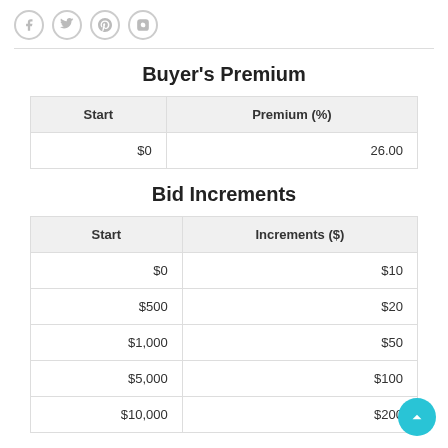Social media icons: Facebook, Twitter, Pinterest, Instagram
Buyer's Premium
| Start | Premium (%) |
| --- | --- |
| $0 | 26.00 |
Bid Increments
| Start | Increments ($) |
| --- | --- |
| $0 | $10 |
| $500 | $20 |
| $1,000 | $50 |
| $5,000 | $100 |
| $10,000 | $200 |